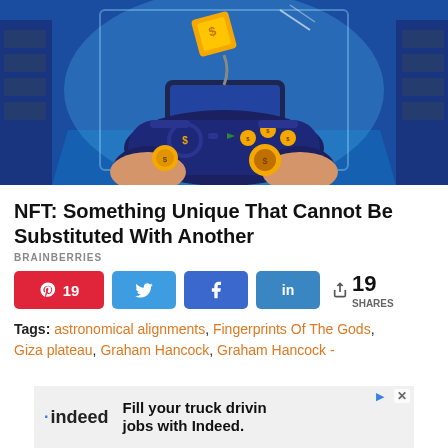[Figure (illustration): Anime-style illustration of two hands holding a dark blue gaming controller with gold coin buttons, set against a glowing blue digital background with floating gold blocks]
NFT: Something Unique That Cannot Be Substituted With Another
BRAINBERRIES
[Figure (infographic): Social sharing bar with Pinterest (19), Twitter, Facebook, LinkedIn buttons and share count of 19 SHARES]
Tags: astronomical alignments, Fingerprints Of The Gods, Giza plateau, Graham Hancock, Graham Hancock -
[Figure (screenshot): Indeed advertisement banner: Fill your truck driving jobs with Indeed.]